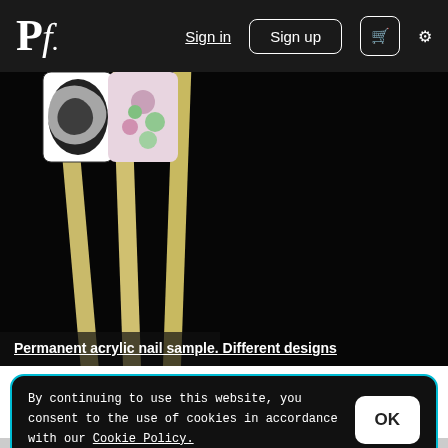Pf. | Sign in | Sign up | cart | settings
[Figure (photo): Dark background photo showing decorative chopsticks with patterned acrylic nail samples on top — one with black and white swirl design, one with pink floral design. The chopsticks are light bamboo colored against a near-black background.]
Permanent acrylic nail sample. Different designs
By continuing to use this website, you consent to the use of cookies in accordance with our Cookie Policy.